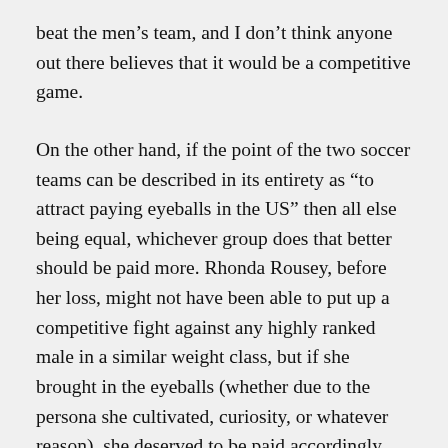beat the men’s team, and I don’t think anyone out there believes that it would be a competitive game.
On the other hand, if the point of the two soccer teams can be described in its entirety as “to attract paying eyeballs in the US” then all else being equal, whichever group does that better should be paid more. Rhonda Rousey, before her loss, might not have been able to put up a competitive fight against any highly ranked male in a similar weight class, but if she brought in the eyeballs (whether due to the persona she cultivated, curiosity, or whatever reason), she deserved to be paid accordingly.
Let us stipulate here that the goal is to bring in revenues and not to generate the best possible soccer team. A few things that are swept into the “all else being equal” are that they would be paid in that